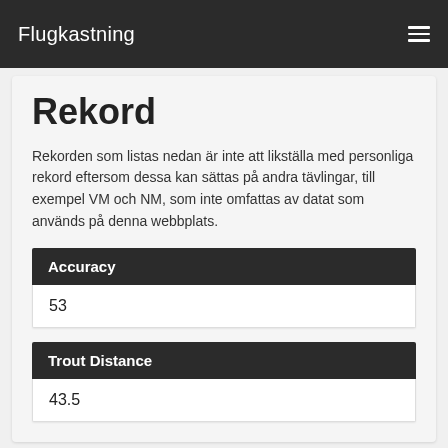Flugkastning
Rekord
Rekorden som listas nedan är inte att likställa med personliga rekord eftersom dessa kan sättas på andra tävlingar, till exempel VM och NM, som inte omfattas av datat som används på denna webbplats.
Accuracy
53
Trout Distance
43.5